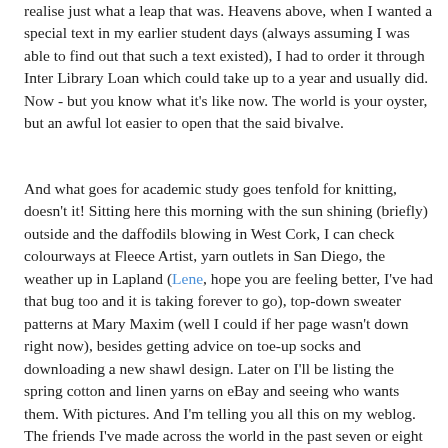realise just what a leap that was. Heavens above, when I wanted a special text in my earlier student days (always assuming I was able to find out that such a text existed), I had to order it through Inter Library Loan which could take up to a year and usually did. Now - but you know what it's like now. The world is your oyster, but an awful lot easier to open that the said bivalve.
And what goes for academic study goes tenfold for knitting, doesn't it! Sitting here this morning with the sun shining (briefly) outside and the daffodils blowing in West Cork, I can check colourways at Fleece Artist, yarn outlets in San Diego, the weather up in Lapland (Lene, hope you are feeling better, I've had that bug too and it is taking forever to go), top-down sweater patterns at Mary Maxim (well I could if her page wasn't down right now), besides getting advice on toe-up socks and downloading a new shawl design. Later on I'll be listing the spring cotton and linen yarns on eBay and seeing who wants them. With pictures. And I'm telling you all this on my weblog. The friends I've made across the world in the past seven or eight months. Who have all shown me their